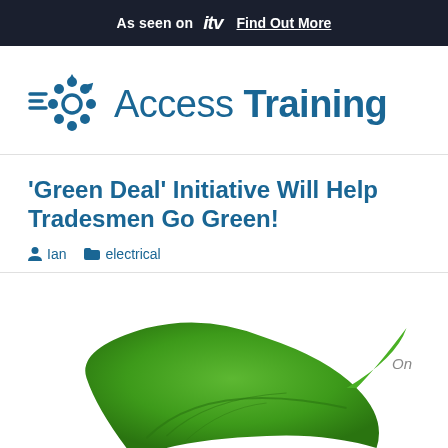As seen on itv   Find Out More
[Figure (logo): Access Training logo with gear/cog icon made of hexagons in dark teal blue]
'Green Deal' Initiative Will Help Tradesmen Go Green!
Ian   electrical
On
[Figure (photo): Green leaf on white background, partially visible at bottom of page]